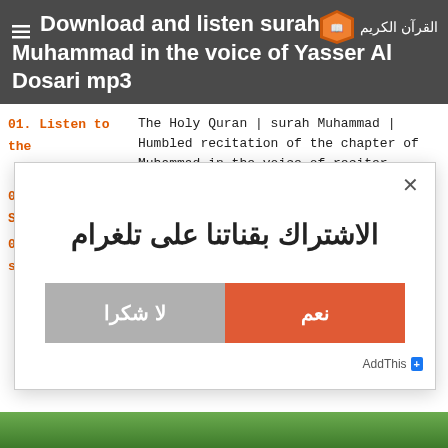Download and listen surah Muhammad in the voice of Yasser Al Dosari mp3
01. Listen to the surah
02. Download Surah
03. Another surah
The Holy Quran | surah Muhammad | Humbled recitation of the chapter of Muhammad in the voice of reciter Yasser Al Dosari For direct listening and MP3 download in high quality and with one direct link .
الاشتراك بقناتنا على تلغرام
لا شكرا
نعم
AddThis